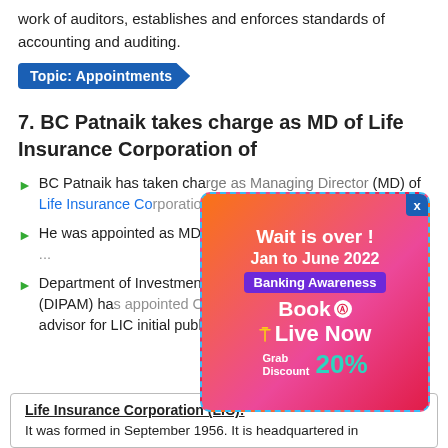work of auditors, establishes and enforces standards of accounting and auditing.
Topic: Appointments
7. BC Patnaik takes charge as MD of Life Insurance Corporation of
BC Patnaik has taken charge as Managing Director (MD) of Life Insurance Corporation of India (LIC).
He was appointed as MD through a notification dated July 5, ...
Department of Investment and Public Asset Management (DIPAM) has appointed Cyril Amarchand Mangaldas as legal advisor for LIC initial public offering (IPO).
[Figure (infographic): Advertisement popup overlay: 'Wait is over! Jan to June 2022 Banking Awareness Book is Live Now Grab Discount 20%']
Life Insurance Corporation (LIC): It was formed in September 1956. It is headquartered in